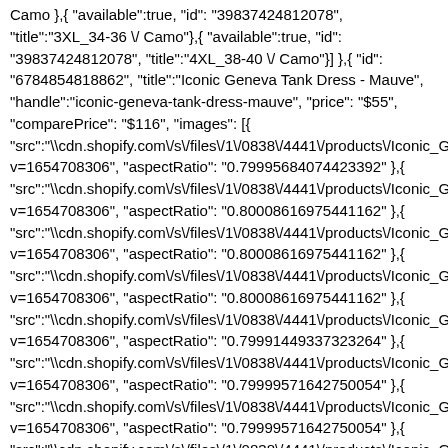Camo },{ "available":true, "id": "39837424812078", "title":"3XL_34-36 \/ Camo"},{ "available":true, "id": "39837424812078", "title":"4XL_38-40 \/ Camo"}] },{ "id": "6784854818862", "title":"Iconic Geneva Tank Dress - Mauve", "handle":"iconic-geneva-tank-dress-mauve", "price": "$55", "comparePrice": "$116", "images": [{ "src":"\\Wcdn.shopify.com\/s\/files\/1\/0838\/4441\/products\/Iconic_G v=1654708306", "aspectRatio": "0.79995684074423392" },{ "src":"\\Wcdn.shopify.com\/s\/files\/1\/0838\/4441\/products\/Iconic_G v=1654708306", "aspectRatio": "0.80008616975441162" },{ "src":"\\Wcdn.shopify.com\/s\/files\/1\/0838\/4441\/products\/Iconic_G v=1654708306", "aspectRatio": "0.80008616975441162" },{ "src":"\\Wcdn.shopify.com\/s\/files\/1\/0838\/4441\/products\/Iconic_G v=1654708306", "aspectRatio": "0.80008616975441162" },{ "src":"\\Wcdn.shopify.com\/s\/files\/1\/0838\/4441\/products\/Iconic_G v=1654708306", "aspectRatio": "0.79991449337323264" },{ "src":"\\Wcdn.shopify.com\/s\/files\/1\/0838\/4441\/products\/Iconic_G v=1654708306", "aspectRatio": "0.79999571642750054" },{ "src":"\\Wcdn.shopify.com\/s\/files\/1\/0838\/4441\/products\/Iconic_G v=1654708306", "aspectRatio": "0.79999571642750054" },{ "src":"\\Wcdn.shopify.com\/s\/files\/1\/0838\/4441\/products\/Iconic_G v=1654708306", "aspectRatio": "0.79991422183143899" }], "url": "/products/iconic-geneva-tank-dress-mauve", "tags": ["abandon:sale","badge:new","BFP","category:dresses","collection:2 sample-sale","collection:2xs-sample-sale","collection:3xl-sample-sale","collection:3XS-sample-sale","collection:45-55-seasonal-